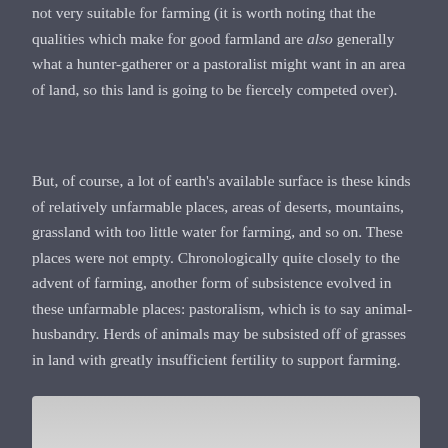not very suitable for farming (it is worth noting that the qualities which make for good farmland are also generally what a hunter-gatherer or a pastoralist might want in an area of land, so this land is going to be fiercely competed over).
But, of course, a lot of earth's available surface is these kinds of relatively unfarmable places, areas of deserts, mountains, grassland with too little water for farming, and so on. These places were not empty. Chronologically quite closely to the advent of farming, another form of subsistence evolved in these unfarmable places: pastoralism, which is to say animal-husbandry. Herds of animals may be subsisted off of grasses in land with greatly insufficient fertility to support farming.
[Figure (photo): Bottom edge of a photograph visible at the base of the page, showing a light gray/white background image, partially cropped.]